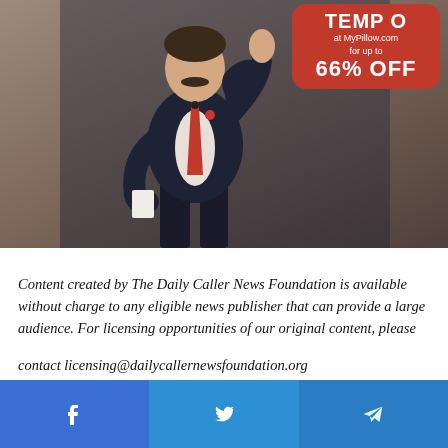[Figure (photo): Advertisement photo of a man in a dark suit with a red tie giving a thumbs up, with a red rounded-rectangle promotional overlay reading 'TEMP O at MyPillow.com for up to 66% OFF']
Content created by The Daily Caller News Foundation is available without charge to any eligible news publisher that can provide a large audience. For licensing opportunities of our original content, please contact licensing@dailycallernewsfoundation.org
Facebook | Twitter | Telegram social share buttons